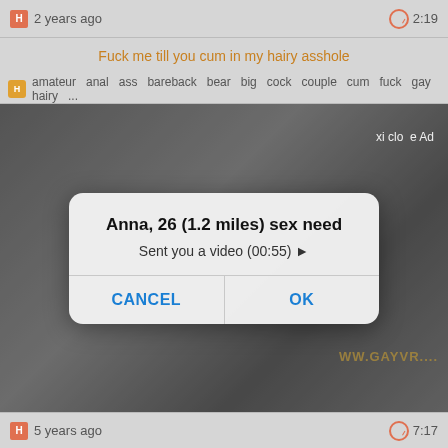2 years ago   2:19
Fuck me till you cum in my hairy asshole
amateur  anal  ass  bareback  bear  big  cock  couple  cum  fuck  gay  hairy  ...
[Figure (screenshot): Blurred adult video thumbnail in background]
Anna, 26 (1.2 miles) sex need
Sent you a video (00:55) ▶
CANCEL   OK
5 years ago   7:17